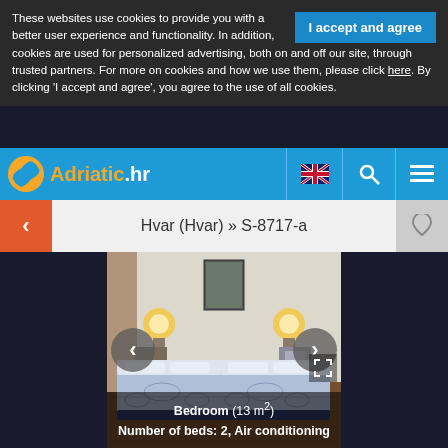These websites use cookies to provide you with a better user experience and functionality. In addition, cookies are used for personalized advertising, both on and off our site, through trusted partners. For more on cookies and how we use them, please click here. By clicking 'I accept and agree', you agree to the use of all cookies.
[Figure (screenshot): Adriatic.hr navigation bar with logo, UK flag icon, search icon, and menu icon on blue background]
Hvar (Hvar) » S-8717-a
[Figure (photo): Bedroom interior with two single beds with blue/white patterned bedding, wall lamps lit on either side, a framed picture on the white wall, and dark wood floor. Caption reads: Bedroom (13 m²) Number of beds: 2, Air conditioning]